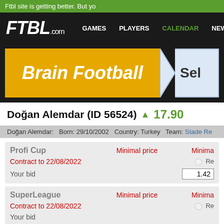Ftbl site is getting better. But yo
FTBL.com  GAMES  PLAYERS  CALENDAR  NEW
[Figure (infographic): Brain Football banner with yellow background and blue arrow panel showing 'Sel']
Doğan Alemdar (ID 56524) ▲ 17.90
Doğan Alemdar:   Born: 29/10/2002   Country: Turkey   Team: Stade Re
| Profi Cup | Minimal price | Minima |
| --- | --- | --- |
| Contract to 22/08/2022 |  | Re |
| Your bid |  | 1.42 |
| SuperLeague | Minimal price | Minima |
| --- | --- | --- |
| Contract to 22/08/2022 |  | Re |
| Your bid |  |  |